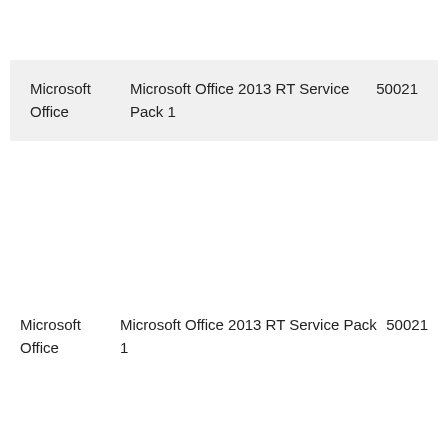| Vendor | Product | ID |
| --- | --- | --- |
| Microsoft Office | Microsoft Office 2013 RT Service Pack 1 | 50021 |
| Vendor | Product | ID |
| --- | --- | --- |
| Microsoft Office | Microsoft Office 2013 RT Service Pack 1 | 50021 |